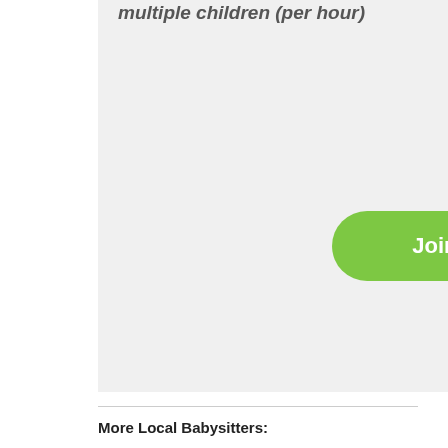multiple children (per hour)
[Figure (other): Green rounded button with text 'Join Care.com Now!']
More Local Babysitters:
Find a Babysitter in 67733
Find a Babysitter in 98330
Find a Babysitter in 37333
Find a Babysitter in 88419